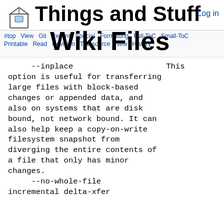Things and Stuff — Log in — Wiki Files navigation
--inplace                    This option is useful for transferring large files with block-based changes or appended data, and also on systems that are disk bound, not network bound. It can also help keep a copy-on-write filesystem snapshot from diverging the entire contents of a file that only has minor changes.
     --no-whole-file
 incremental delta-xfer